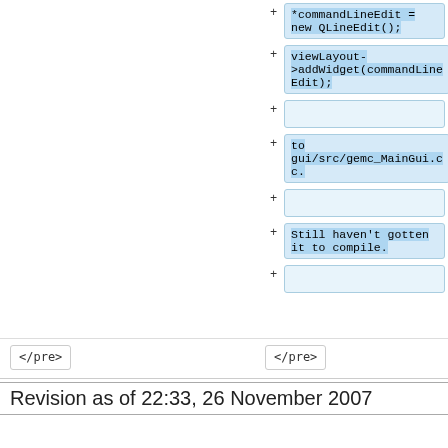+ *commandLineEdit = new QLineEdit();
+ viewLayout->addWidget(commandLineEdit);
+
+ to gui/src/gemc_MainGui.cc.
+
+ Still haven't gotten it to compile.
+
</pre>   </pre>
Revision as of 22:33, 26 November 2007